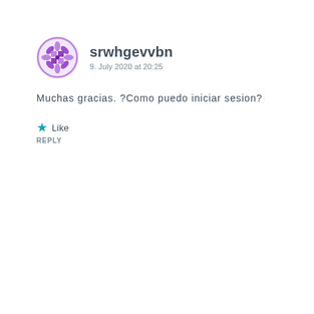[Figure (illustration): Purple decorative avatar icon with geometric snowflake/mandala pattern inside a circle]
srwhgevvbn
9. July 2020 at 20:25
Muchas gracias. ?Como puedo iniciar sesion?
★ Like
REPLY